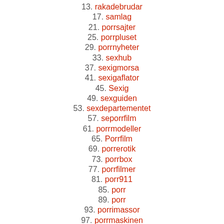13.  rakadebrudar
17.  samlag
21.  porrsajter
25.  porrpluset
29.  porrnyheter
33.  sexhub
37.  sexigmorsa
41.  sexigaflator
45.  Sexig
49.  sexguiden
53.  sexdepartementet
57.  seporrfilm
61.  porrmodeller
65.  Porrfilm
69.  porrerotik
73.  porrbox
77.  porrfilmer
81.  porr911
85.  porr
89.  porr
93.  porrimassor
97.  porrmaskinen